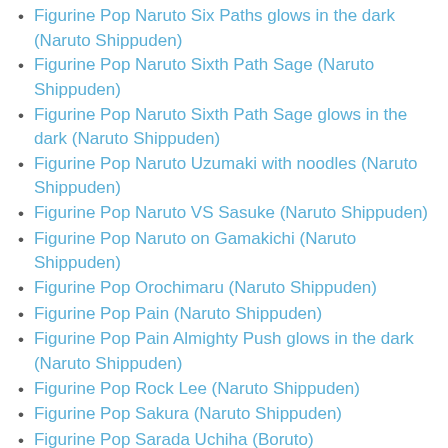Figurine Pop Naruto Six Paths glows in the dark (Naruto Shippuden)
Figurine Pop Naruto Sixth Path Sage (Naruto Shippuden)
Figurine Pop Naruto Sixth Path Sage glows in the dark (Naruto Shippuden)
Figurine Pop Naruto Uzumaki with noodles (Naruto Shippuden)
Figurine Pop Naruto VS Sasuke (Naruto Shippuden)
Figurine Pop Naruto on Gamakichi (Naruto Shippuden)
Figurine Pop Orochimaru (Naruto Shippuden)
Figurine Pop Pain (Naruto Shippuden)
Figurine Pop Pain Almighty Push glows in the dark (Naruto Shippuden)
Figurine Pop Rock Lee (Naruto Shippuden)
Figurine Pop Sakura (Naruto Shippuden)
Figurine Pop Sarada Uchiha (Boruto)
Figurine Pop Sasuke (Naruto Shippuden)
Figurine Pop Sasuke Rinnegan (Naruto Shippuden)
Figurine Pop Sasuke Rinnegan glows in the dark chase